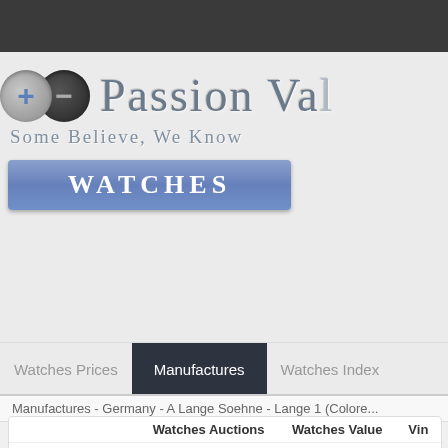[Figure (logo): Passion Value logo with plus/minus circle icons and brand name 'Passion Val...' with tagline 'Some Believe, We Know' and blue Watches button]
Watches
Watches Prices | Manufactures | Watches Index
Manufactures - Germany - A Lange Soehne - Lange 1 (Colore...
|  | Watches Auctions | Watches Value | Vin... |
| --- | --- | --- | --- |
| Lange 1 | 55 | 878.967 $ | 19... |